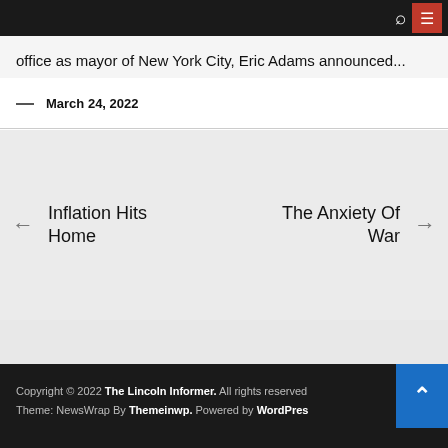office as mayor of New York City, Eric Adams announced...
— March 24, 2022
← Inflation Hits Home
The Anxiety Of War →
Copyright © 2022 The Lincoln Informer. All rights reserved. Theme: NewsWrap By Themeinwp. Powered by WordPress.